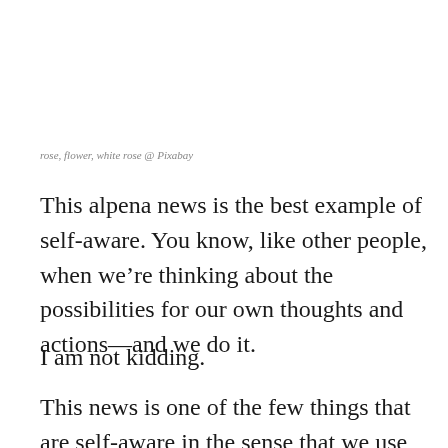rose, flower, white rose @ Pixabay
This alpena news is the best example of self-aware. You know, like other people, when we’re thinking about the possibilities for our own thoughts and actions—and we do it.
I am not kidding.
This news is one of the few things that are self-aware in the sense that we use words like the